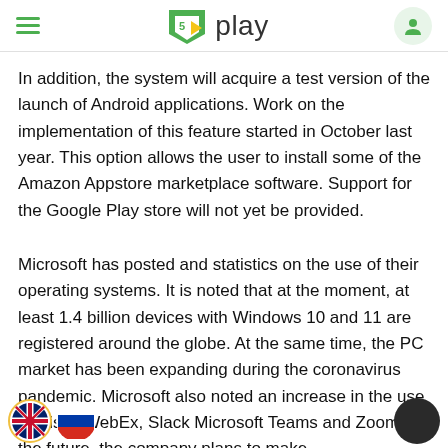5play
In addition, the system will acquire a test version of the launch of Android applications. Work on the implementation of this feature started in October last year. This option allows the user to install some of the Amazon Appstore marketplace software. Support for the Google Play store will not yet be provided.
Microsoft has posted and statistics on the use of their operating systems. It is noted that at the moment, at least 1.4 billion devices with Windows 10 and 11 are registered around the globe. At the same time, the PC market has been expanding during the coronavirus pandemic. Microsoft also noted an increase in the use of Cisco WebEx, Slack Microsoft Teams and Zoom. In the future, the company plans to make